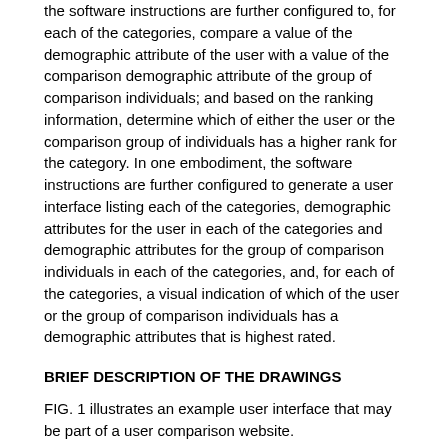the software instructions are further configured to, for each of the categories, compare a value of the demographic attribute of the user with a value of the comparison demographic attribute of the group of comparison individuals; and based on the ranking information, determine which of either the user or the comparison group of individuals has a higher rank for the category. In one embodiment, the software instructions are further configured to generate a user interface listing each of the categories, demographic attributes for the user in each of the categories and demographic attributes for the group of comparison individuals in each of the categories, and, for each of the categories, a visual indication of which of the user or the group of comparison individuals has a demographic attributes that is highest rated.
BRIEF DESCRIPTION OF THE DRAWINGS
FIG. 1 illustrates an example user interface that may be part of a user comparison website.
FIG. 2 illustrates another example user interface that may be provided to a user as part of a user comparison website.